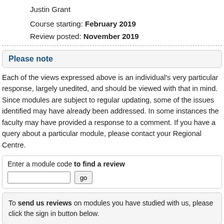Justin Grant
Course starting: February 2019
Review posted: November 2019
Please note
Each of the views expressed above is an individual's very particular response, largely unedited, and should be viewed with that in mind. Since modules are subject to regular updating, some of the issues identified may have already been addressed. In some instances the faculty may have provided a response to a comment. If you have a query about a particular module, please contact your Regional Centre.
Enter a module code to find a review
To send us reviews on modules you have studied with us, please click the sign in button below.